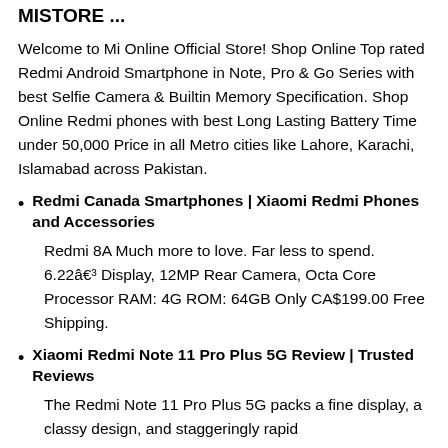MISTORE ...
Welcome to Mi Online Official Store! Shop Online Top rated Redmi Android Smartphone in Note, Pro & Go Series with best Selfie Camera & Builtin Memory Specification. Shop Online Redmi phones with best Long Lasting Battery Time under 50,000 Price in all Metro cities like Lahore, Karachi, Islamabad across Pakistan.
Redmi Canada Smartphones | Xiaomi Redmi Phones and Accessories
Redmi 8A Much more to love. Far less to spend. 6.22â€³ Display, 12MP Rear Camera, Octa Core Processor RAM: 4G ROM: 64GB Only CA$199.00 Free Shipping.
Xiaomi Redmi Note 11 Pro Plus 5G Review | Trusted Reviews
The Redmi Note 11 Pro Plus 5G packs a fine display, a classy design, and staggeringly rapid